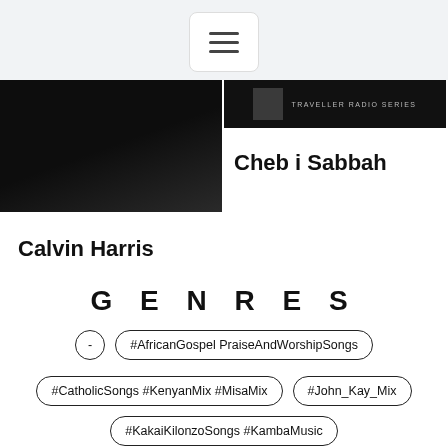[Figure (screenshot): Hamburger menu button icon with three horizontal lines inside a rounded rectangle]
[Figure (photo): Dark/black photo thumbnail for Calvin Harris artist]
Calvin Harris
[Figure (photo): Dark photo thumbnail for Cheb i Sabbah with text TRAVELLER RADIO SERIES]
Cheb i Sabbah
G E N R E S
-
#AfricanGospel PraiseAndWorshipSongs
#CatholicSongs #KenyanMix #MisaMix
#John_Kay_Mix
#KakaiKilonzoSongs #KambaMusic